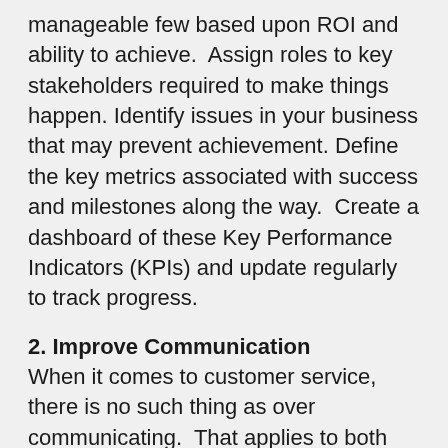manageable few based upon ROI and ability to achieve.  Assign roles to key stakeholders required to make things happen. Identify issues in your business that may prevent achievement. Define the key metrics associated with success and milestones along the way.  Create a dashboard of these Key Performance Indicators (KPIs) and update regularly to track progress.
2. Improve Communication
When it comes to customer service, there is no such thing as over communicating.  That applies to both internal and external clients, a.k.a. your co-workers as well as your patrons.  Set a company standard for